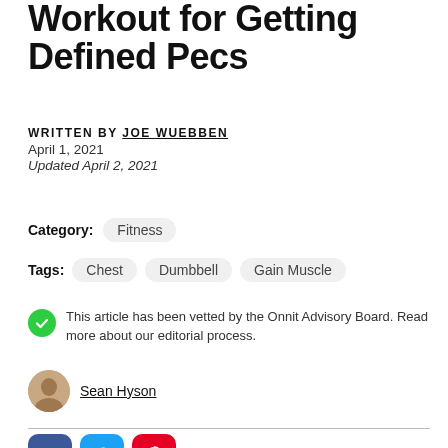Workout for Getting Defined Pecs
WRITTEN BY JOE WUEBBEN
April 1, 2021
Updated April 2, 2021
Category: Fitness
Tags: Chest  Dumbbell  Gain Muscle
This article has been vetted by the Onnit Advisory Board. Read more about our editorial process.
Sean Hyson